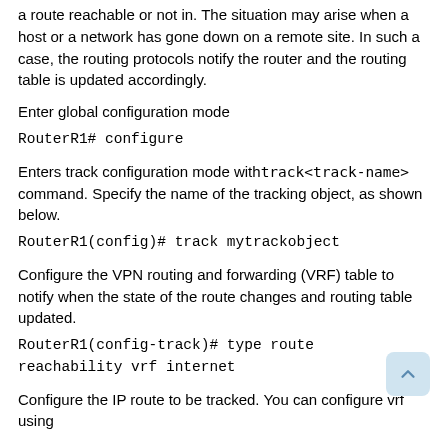a route reachable or not in. The situation may arise when a host or a network has gone down on a remote site. In such a case, the routing protocols notify the router and the routing table is updated accordingly.
Enter global configuration mode
RouterR1# configure
Enters track configuration mode withtrack<track-name> command. Specify the name of the tracking object, as shown below.
RouterR1(config)# track mytrackobject
Configure the VPN routing and forwarding (VRF) table to notify when the state of the route changes and routing table updated.
RouterR1(config-track)# type route reachability vrf internet
Configure the IP route to be tracked. You can configure vrf using